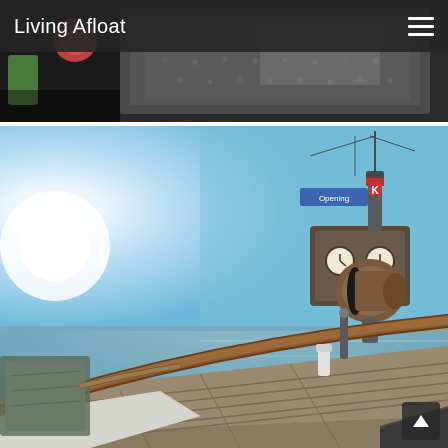Living Afloat
[Figure (photo): Close-up photo of a dark metallic boat surface, likely a fuel tank or deck plate, with some colorful objects visible on the left side.]
[Figure (photo): Photo taken from the deck of a vintage/classic boat looking forward. The wooden deck and curved mahogany railing are visible in the foreground. A wheelhouse/pilothouse with clocks and a large horn is in the middle. Blue sky and open water visible in the background. A banner reading 'Opening' is partially visible on the wheelhouse.]